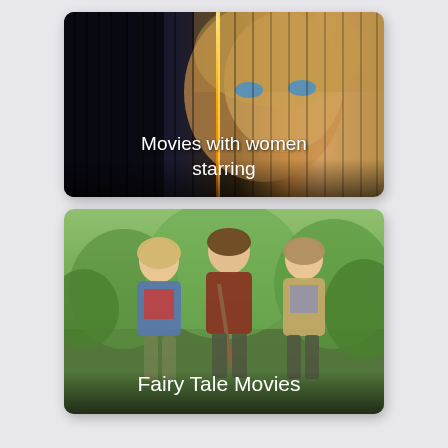[Figure (photo): Movie poster style image of a woman with blue eyes, face partially lit with fire, dark vertical streaks overlaid, with text overlay 'Movies with women starring']
Movies with women starring
[Figure (photo): Three teenagers walking in a green outdoor setting — a girl in denim jacket, a boy in red-brown jacket holding a sword/stick, and a boy in tan jacket. Text overlay reads 'Fairy Tale Movies']
Fairy Tale Movies